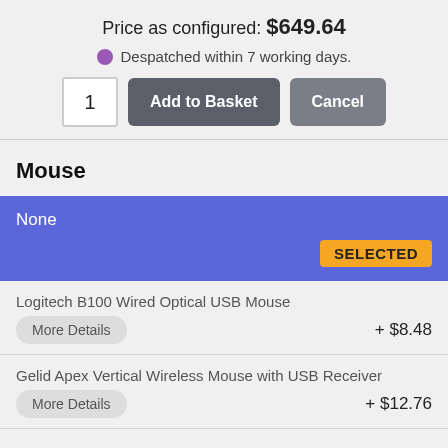Price as configured: $649.64
Despatched within 7 working days.
1  Add to Basket  Cancel
Mouse
None  SELECTED
Logitech B100 Wired Optical USB Mouse  More Details  + $8.48
Gelid Apex Vertical Wireless Mouse with USB Receiver  More Details  + $12.76